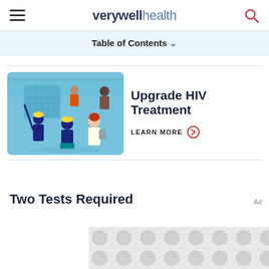verywell health
Table of Contents
Upgrade HIV Treatment
LEARN MORE
[Figure (illustration): Illustration showing a doctor and patients in a medical consultation scene with a grid/calendar on the wall, set against a blue background. Multiple people including healthcare workers and patients.]
Two Tests Required
[Figure (other): Ad placeholder with grey dot pattern]